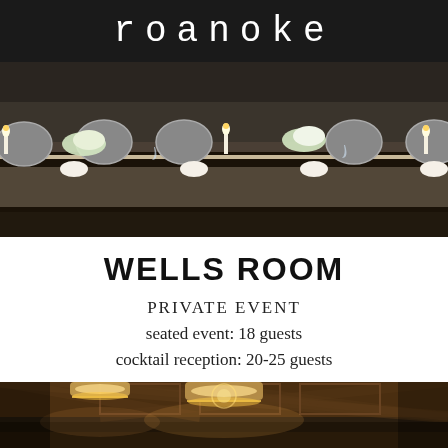roanoke
[Figure (photo): Elegant private dining room with a long table set with candles, floral arrangements, glassware, and stylish oval-back chairs]
WELLS ROOM
PRIVATE EVENT
seated event: 18 guests
cocktail reception: 20-25 guests
[Figure (photo): Interior of restaurant bar area with warm amber lighting and pendant drum shade lights]